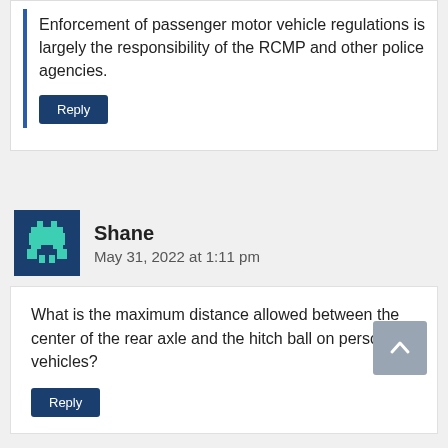Enforcement of passenger motor vehicle regulations is largely the responsibility of the RCMP and other police agencies.
Reply
Shane
May 31, 2022 at 1:11 pm
What is the maximum distance allowed between the center of the rear axle and the hitch ball on personal vehicles?
Reply